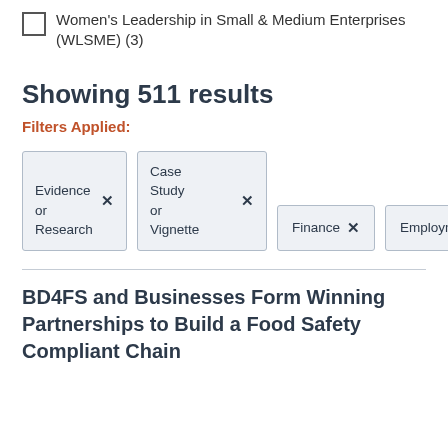Women's Leadership in Small & Medium Enterprises (WLSME) (3)
Showing 511 results
Filters Applied:
Evidence or Research ×  Case Study or Vignette ×  Finance ×  Employment ×
BD4FS and Businesses Form Winning Partnerships to Build a Food Safety Compliant Chain